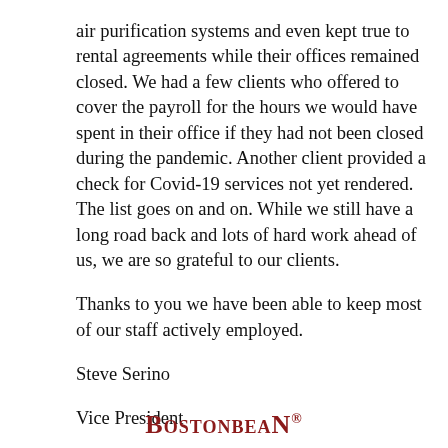air purification systems and even kept true to rental agreements while their offices remained closed. We had a few clients who offered to cover the payroll for the hours we would have spent in their office if they had not been closed during the pandemic. Another client provided a check for Covid-19 services not yet rendered. The list goes on and on. While we still have a long road back and lots of hard work ahead of us, we are so grateful to our clients.
Thanks to you we have been able to keep most of our staff actively employed.
Steve Serino
Vice President
BostonbeaN / BostoncleaN
[Figure (logo): BostonbeaN logo in dark red serif small-caps font with registered trademark symbol]